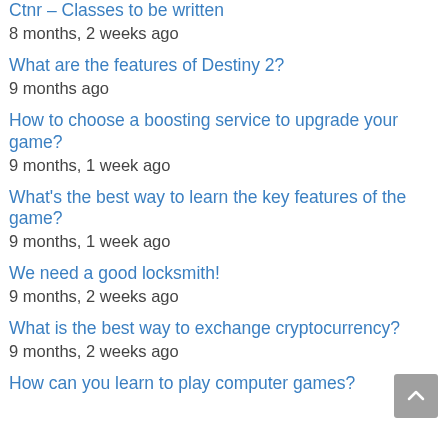Ctnr – Classes to be written
8 months, 2 weeks ago
What are the features of Destiny 2?
9 months ago
How to choose a boosting service to upgrade your game?
9 months, 1 week ago
What's the best way to learn the key features of the game?
9 months, 1 week ago
We need a good locksmith!
9 months, 2 weeks ago
What is the best way to exchange cryptocurrency?
9 months, 2 weeks ago
How can you learn to play computer games?